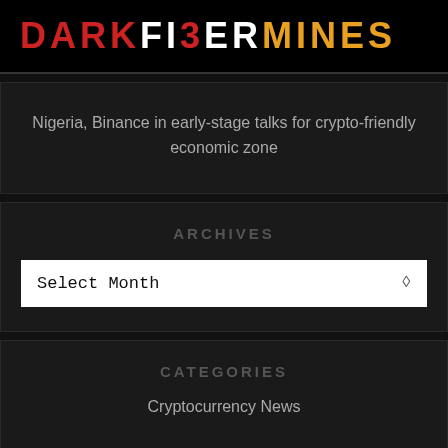DARKFIBERMINES
Nigeria, Binance in early-stage talks for crypto-friendly economic zone
ARCHIVES
Select Month
CATEGORIES
Cryptocurrency News